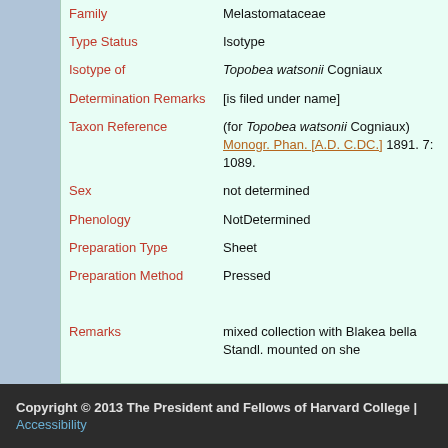| Field | Value |
| --- | --- |
| Family | Melastomataceae |
| Type Status | Isotype |
| Isotype of | Topobea watsonii Cogniaux |
| Determination Remarks | [is filed under name] |
| Taxon Reference | (for Topobea watsonii Cogniaux) Monogr. Phan. [A.D.C.] 1891. 7: 1089. |
| Sex | not determined |
| Phenology | NotDetermined |
| Preparation Type | Sheet |
| Preparation Method | Pressed |
| Remarks | mixed collection with Blakea bella Standl. mounted on she |
Copyright © 2013 The President and Fellows of Harvard College | Accessibility